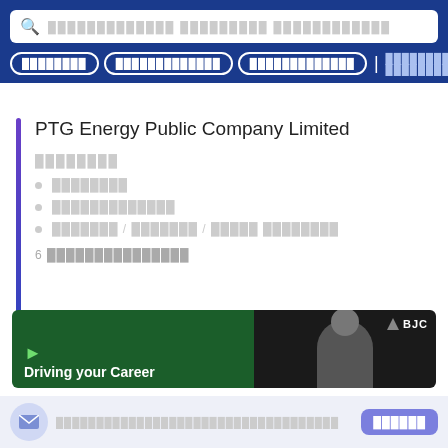[Thai text] search bar navigation
PTG Energy Public Company Limited
[Thai label text]
[Thai text item 1]
[Thai text item 2]
[Thai text item 3]
6 [Thai text count]
[Figure (photo): BJC banner with Driving your Career text and person photo]
[Thai subscription text] [Subscribe button]